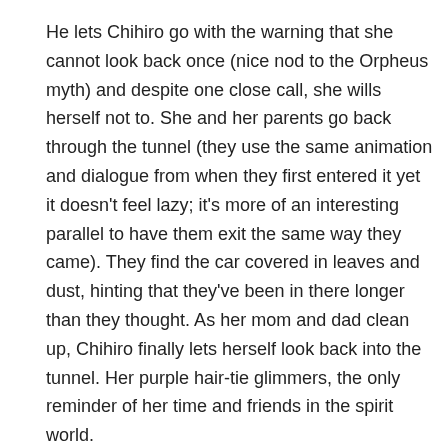He lets Chihiro go with the warning that she cannot look back once (nice nod to the Orpheus myth) and despite one close call, she wills herself not to. She and her parents go back through the tunnel (they use the same animation and dialogue from when they first entered it yet it doesn't feel lazy; it's more of an interesting parallel to have them exit the same way they came). They find the car covered in leaves and dust, hinting that they've been in there longer than they thought. As her mom and dad clean up, Chihiro finally lets herself look back into the tunnel. Her purple hair-tie glimmers, the only reminder of her time and friends in the spirit world.
Now here's a big difference in how the film ends in the two different dubs. In the Japanese one, there is complete silence as the car pulls away. In the English one, we hear Chihiro's dad remark that she must feel